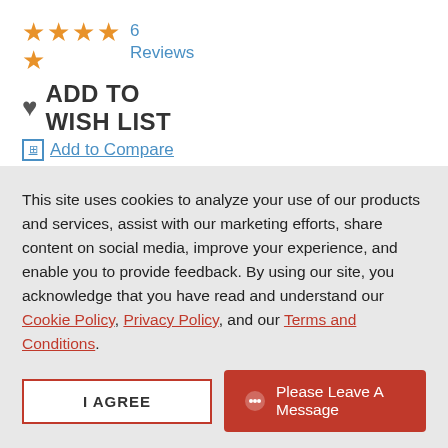[Figure (other): Star rating showing 4.5 stars (5 stars displayed as 4 on top row and 1 on bottom row) in orange]
6 Reviews
♥ ADD TO WISH LIST
🔲 Add to Compare
•
This site uses cookies to analyze your use of our products and services, assist with our marketing efforts, share content on social media, improve your experience, and enable you to provide feedback. By using our site, you acknowledge that you have read and understand our Cookie Policy, Privacy Policy, and our Terms and Conditions.
I AGREE
Please Leave A Message